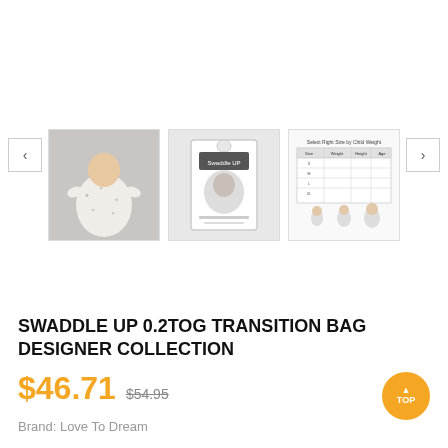[Figure (photo): Product image carousel showing three thumbnails: a baby in a swaddle bag with star pattern, a product box/package, and a size chart image. Left and right navigation arrows visible.]
SWADDLE UP 0.2TOG TRANSITION BAG DESIGNER COLLECTION
$46.71  $54.95
Brand: Love To Dream